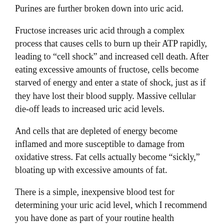Purines are further broken down into uric acid.
Fructose increases uric acid through a complex process that causes cells to burn up their ATP rapidly, leading to “cell shock” and increased cell death. After eating excessive amounts of fructose, cells become starved of energy and enter a state of shock, just as if they have lost their blood supply. Massive cellular die-off leads to increased uric acid levels.
And cells that are depleted of energy become inflamed and more susceptible to damage from oxidative stress. Fat cells actually become “sickly,” bloating up with excessive amounts of fat.
There is a simple, inexpensive blood test for determining your uric acid level, which I recommend you have done as part of your routine health checkups. Your level should be between 3.0 and 5.5 mg/dl, optimally.